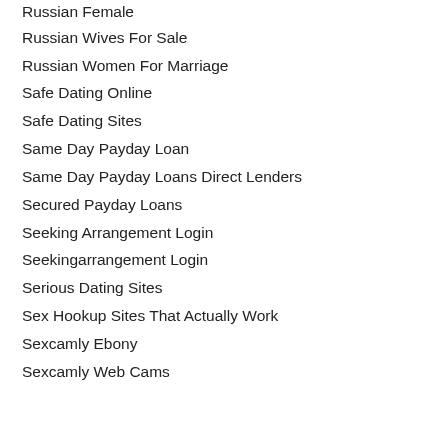Russian Female
Russian Wives For Sale
Russian Women For Marriage
Safe Dating Online
Safe Dating Sites
Same Day Payday Loan
Same Day Payday Loans Direct Lenders
Secured Payday Loans
Seeking Arrangement Login
Seekingarrangement Login
Serious Dating Sites
Sex Hookup Sites That Actually Work
Sexcamly Ebony
Sexcamly Web Cams